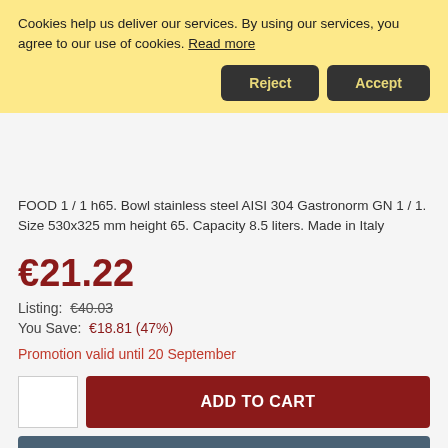Cookies help us deliver our services. By using our services, you agree to our use of cookies. Read more
Reject | Accept
FOOD 1 / 1 h65. Bowl stainless steel AISI 304 Gastronorm GN 1 / 1. Size 530x325 mm height 65. Capacity 8.5 liters. Made in Italy
€21.22
Listing: €40.03
You Save: €18.81 (47%)
Promotion valid until 20 September
ADD TO CART
ADD TO WISH LIST